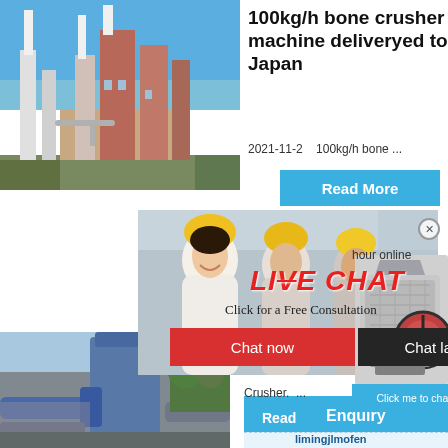[Figure (photo): Industrial plant with tall towers, chimneys, and structures under blue sky]
100kg/h bone crusher machine deliveryed to Japan
2021-11-2    100kg/h bone ...
Read More
[Figure (photo): Three workers in yellow hard hats smiling, live chat overlay with LIVE CHAT text, Click for a Free Consultation, Chat now and Chat later buttons]
LIVE CHAT
Click for a Free Consultation
Chat now
Chat later
hour online
[Figure (photo): Industrial pipe and silo system with blue piping]
[Figure (photo): Crusher machine equipment - grey industrial crusher]
ZR5001 Machin
Crusher.
Click me to chat>>
hi
Read
Enquiry
limingjlmofen